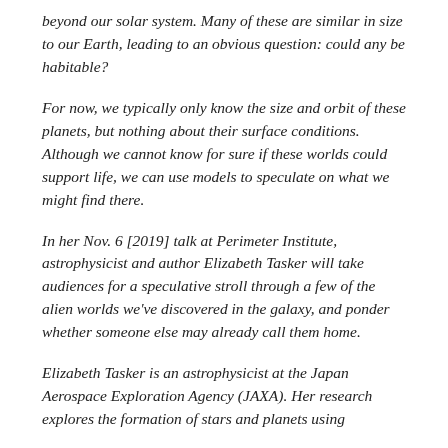beyond our solar system. Many of these are similar in size to our Earth, leading to an obvious question: could any be habitable?
For now, we typically only know the size and orbit of these planets, but nothing about their surface conditions. Although we cannot know for sure if these worlds could support life, we can use models to speculate on what we might find there.
In her Nov. 6 [2019] talk at Perimeter Institute, astrophysicist and author Elizabeth Tasker will take audiences for a speculative stroll through a few of the alien worlds we've discovered in the galaxy, and ponder whether someone else may already call them home.
Elizabeth Tasker is an astrophysicist at the Japan Aerospace Exploration Agency (JAXA). Her research explores the formation of stars and planets using